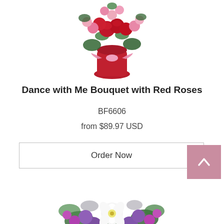[Figure (photo): Flower bouquet with red roses and pink carnations in a red vase with a pink ribbon, partially cropped at top]
Dance with Me Bouquet with Red Roses
BF6606
from $89.97 USD
Order Now
[Figure (photo): Purple floral bouquet with white lily, purple roses, and assorted purple flowers, partially cropped at bottom]